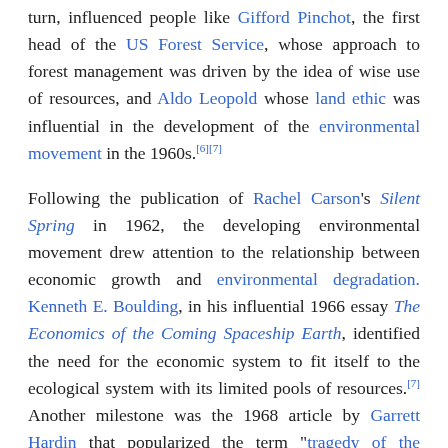turn, influenced people like Gifford Pinchot, the first head of the US Forest Service, whose approach to forest management was driven by the idea of wise use of resources, and Aldo Leopold whose land ethic was influential in the development of the environmental movement in the 1960s.[6][7]
Following the publication of Rachel Carson's Silent Spring in 1962, the developing environmental movement drew attention to the relationship between economic growth and environmental degradation. Kenneth E. Boulding, in his influential 1966 essay The Economics of the Coming Spaceship Earth, identified the need for the economic system to fit itself to the ecological system with its limited pools of resources.[7] Another milestone was the 1968 article by Garrett Hardin that popularized the term "tragedy of the commons".[8] One of the first uses of the term sustainable in the contemporary sense was by the Club of Rome in 1972 in its classic report on the Limits to Growth, written by a group of scientists led by Dennis and Donella Meadows of the